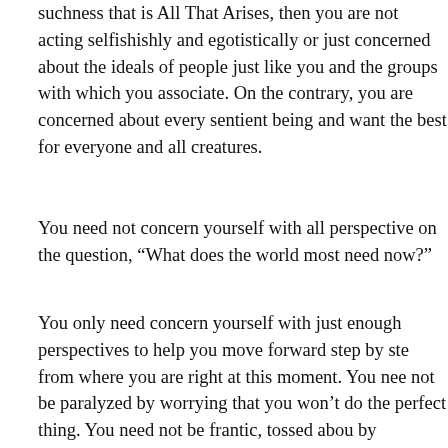suchness that is All That Arises, then you are not acting selfishishly and egotistically or just concerned about the ideals of people just like you and the groups with which you associate. On the contrary, you are concerned about every sentient being and want the best for everyone and all creatures.
You need not concern yourself with all perspectives on the question, “What does the world most need now?”
You only need concern yourself with just enough perspectives to help you move forward step by step from where you are right at this moment. You need not be paralyzed by worrying that you won’t do the perfect thing. You need not be frantic, tossed about by haphazard winds of the power of self-will.